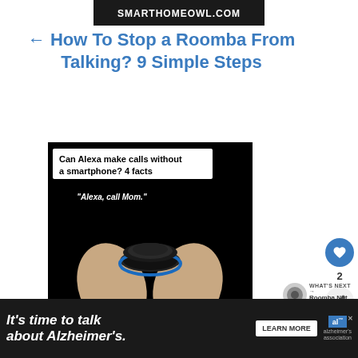SMARTHOMEOWL.COM
← How To Stop a Roomba From Talking? 9 Simple Steps
[Figure (photo): Black background promotional image showing two hands cupping an Amazon Echo Dot device with blue ring, text overlay reading 'Can Alexa make calls without a smartphone? 4 facts' and '"Alexa, call Mom."' and 'SMARTHOMEOWL.COM' at the bottom]
2
WHAT'S NEXT → Roomba Not Picking Up...
Can Alexa Make Calls Without a smartphone? 4 fac...
It's time to talk about Alzheimer's. LEARN MORE